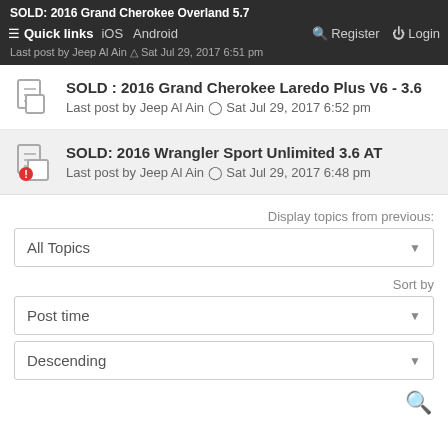SOLD: 2016 Grand Cherokee Overland 5.7 | Quick links | iOS | Android | Register | Login | Last post by Jeep Al Ain @ Sat Jul 29, 2017 6:51 pm
SOLD : 2016 Grand Cherokee Laredo Plus V6 - 3.6
Last post by Jeep Al Ain ⊙ Sat Jul 29, 2017 6:52 pm
SOLD: 2016 Wrangler Sport Unlimited 3.6 AT
Last post by Jeep Al Ain ⊙ Sat Jul 29, 2017 6:48 pm
Display topics from previous:
All Topics
Sort by
Post time
Descending